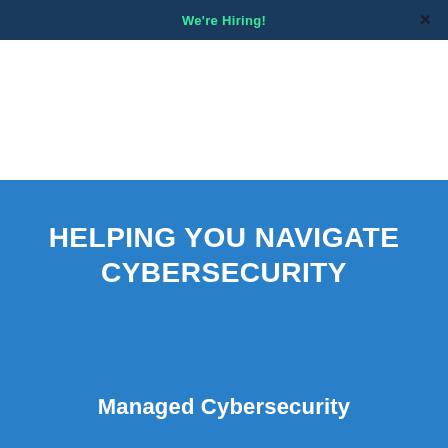We're Hiring!
HELPING YOU NAVIGATE CYBERSECURITY
Managed Cybersecurity